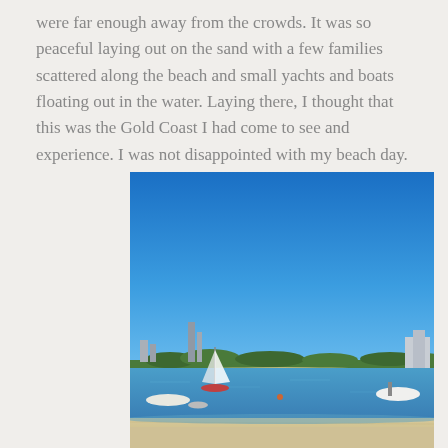were far enough away from the crowds. It was so peaceful laying out on the sand with a few families scattered along the beach and small yachts and boats floating out in the water. Laying there, I thought that this was the Gold Coast I had come to see and experience. I was not disappointed with my beach day.
[Figure (photo): A photograph of a calm coastal beach scene under a vivid blue sky. The foreground shows sandy beach and blue water with small boats and yachts moored nearby. In the middle distance, a sandy spit with trees and low buildings is visible. The sky takes up roughly the top two thirds of the image.]